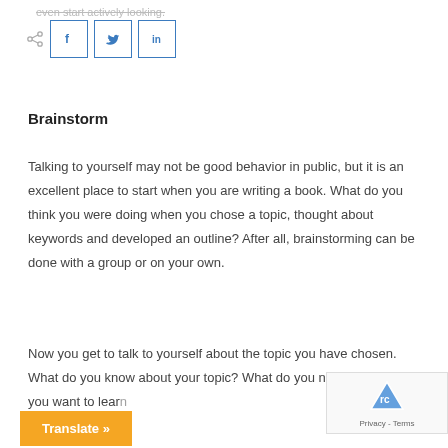even start actively looking.
[Figure (other): Share icon and social media buttons for Facebook, Twitter, and LinkedIn]
Brainstorm
Talking to yourself may not be good behavior in public, but it is an excellent place to start when you are writing a book. What do you think you were doing when you chose a topic, thought about keywords and developed an outline? After all, brainstorming can be done with a group or on your own.
Now you get to talk to yourself about the topic you have chosen. What do you know about your topic? What do you not know that you want to learn
[Figure (other): Orange Translate button and reCAPTCHA widget]